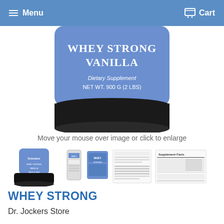Menu  Cart
[Figure (photo): Close-up of Whey Strong Vanilla supplement container lid — blue label reading 'WHEY STRONG VANILLA, Dietary Supplement, NET WT. 900 G (2 LBS)']
Move your mouse over image or click to enlarge
[Figure (photo): Thumbnail row showing: main product jar (Whey Strong Vanilla black and blue container), single-serve packet, blue label packet, nutrition facts panel, and supplement facts document]
WHEY STRONG
Dr. Jockers Store